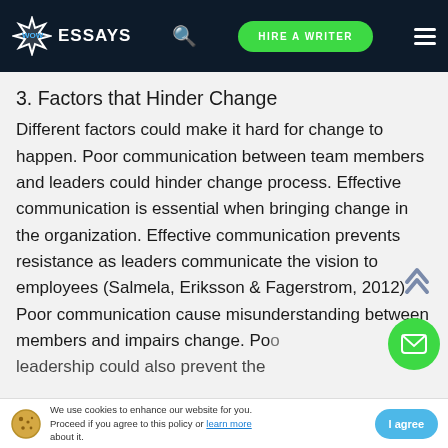WOW ESSAYS | HIRE A WRITER
3. Factors that Hinder Change
Different factors could make it hard for change to happen. Poor communication between team members and leaders could hinder change process. Effective communication is essential when bringing change in the organization. Effective communication prevents resistance as leaders communicate the vision to employees (Salmela, Eriksson & Fagerstrom, 2012). Poor communication cause misunderstanding between members and impairs change. Poor leadership could also prevent the
We use cookies to enhance our website for you. Proceed if you agree to this policy or learn more about it. | I agree